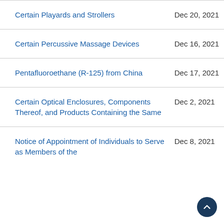Certain Playards and Strollers	Dec 20, 2021
Certain Percussive Massage Devices	Dec 16, 2021
Pentafluoroethane (R-125) from China	Dec 17, 2021
Certain Optical Enclosures, Components Thereof, and Products Containing the Same	Dec 2, 2021
Notice of Appointment of Individuals to Serve as Members of the	Dec 8, 2021